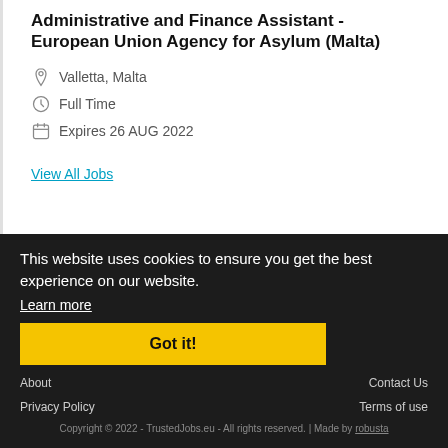Administrative and Finance Assistant - European Union Agency for Asylum (Malta)
Valletta, Malta
Full Time
Expires 26 AUG 2022
View All Jobs
This website uses cookies to ensure you get the best experience on our website.
Learn more
Got it!
About
Contact Us
Privacy Policy
Terms of use
Copyright © 2022 - TrustedJobs.eu - All rights reserved. | Made by robusta